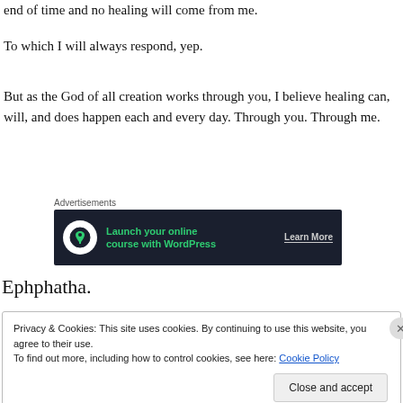end of time and no healing will come from me.
To which I will always respond, yep.
But as the God of all creation works through you, I believe healing can, will, and does happen each and every day. Through you. Through me.
[Figure (other): Advertisement banner: dark navy background with white circle icon containing a bonsai tree silhouette, green text 'Launch your online course with WordPress', and a 'Learn More' call-to-action link.]
Ephphatha.
Privacy & Cookies: This site uses cookies. By continuing to use this website, you agree to their use.
To find out more, including how to control cookies, see here: Cookie Policy